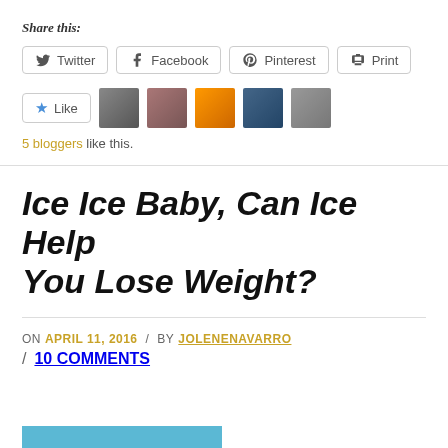Share this:
Twitter  Facebook  Pinterest  Print
[Figure (other): Like button with star icon and 5 blogger avatar thumbnails]
5 bloggers like this.
Ice Ice Baby, Can Ice Help You Lose Weight?
ON APRIL 11, 2016 / BY JOLENENAVARRO / 10 COMMENTS